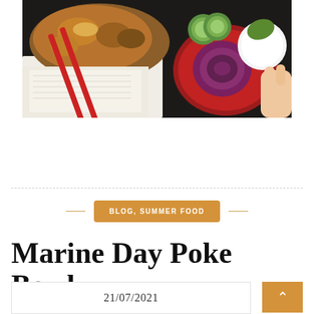[Figure (photo): Overhead photo of a poke bowl / Japanese rice dish with fried chicken or katsu, red chopsticks, red bowl with sliced red onion and cucumber, white rice, on a dark background]
BLOG, SUMMER FOOD
Marine Day Poke Bowl
21/07/2021